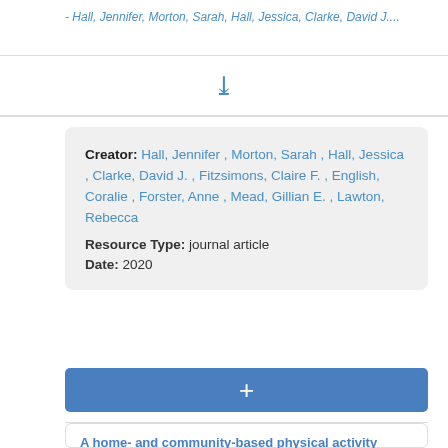- Hall, Jennifer, Morton, Sarah, Hall, Jessica, Clarke, David J....
[Figure (other): Chevron/expand toggle icon in blue]
Creator: Hall, Jennifer , Morton, Sarah , Hall, Jessica , Clarke, David J. , Fitzsimons, Claire F. , English, Coralie , Forster, Anne , Mead, Gillian E. , Lawton, Rebecca
Resource Type: journal article
Date: 2020
[Figure (other): Blue add (+) button]
A home- and community-based physical activity program can improve the cardiorespiratory fitness and walking capacity of stroke survivors
- Marsden, Dianne Lesley, Dunn, Ashlee, Callister, Robin, Mc...